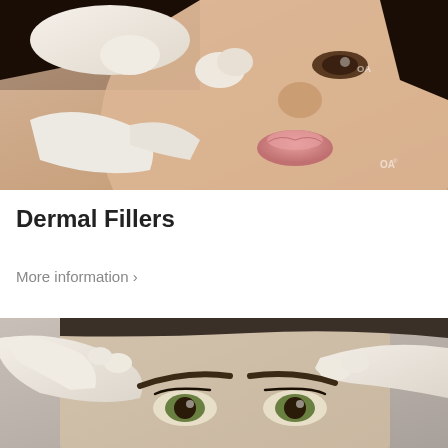[Figure (photo): Close-up of a woman's face receiving a cosmetic injection or treatment near the nose, with gloved hands touching her face. Watermark 'OA' visible in bottom right of image.]
Dermal Fillers
More information ›
[Figure (photo): Close-up of a woman's forehead and eyes receiving a Botox or dermal filler injection, with two gloved hands pressing near her eyebrows.]